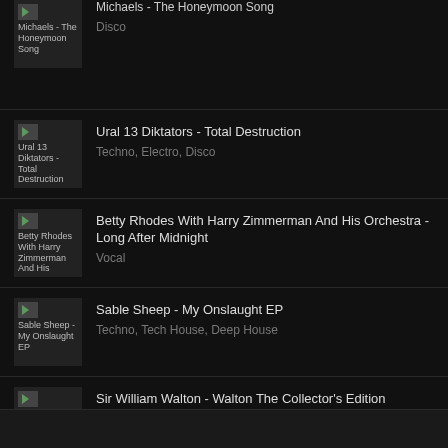Michaels - The Honeymoon Song | Disco
Ural 13 Diktators - Total Destruction | Techno, Electro, Disco
Betty Rhodes With Harry Zimmerman And His Orchestra - Long After Midnight | Vocal
Sable Sheep - My Onslaught EP | Techno, Tech House, Deep House
Sir William Walton - Walton The Collector's Edition